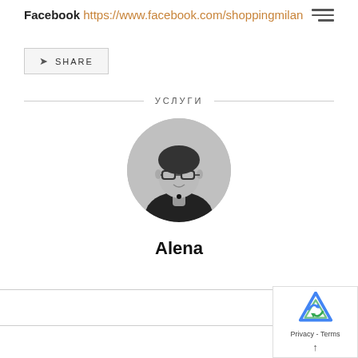Facebook https://www.facebook.com/shoppingmilan
SHARE
УСЛУГИ
[Figure (photo): Black and white circular portrait photo of a woman named Alena wearing glasses and dark top]
Alena
[Figure (logo): reCAPTCHA logo with Privacy - Terms text]